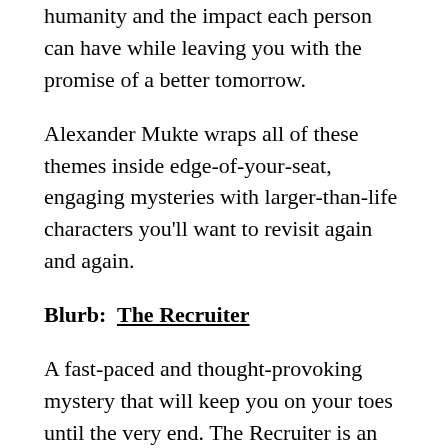humanity and the impact each person can have while leaving you with the promise of a better tomorrow.
Alexander Mukte wraps all of these themes inside edge-of-your-seat, engaging mysteries with larger-than-life characters you'll want to revisit again and again.
Blurb:  The Recruiter
A fast-paced and thought-provoking mystery that will keep you on your toes until the very end. The Recruiter is an entertaining and thoroughly enjoyable start to the series, full of intriguing twists and turns.